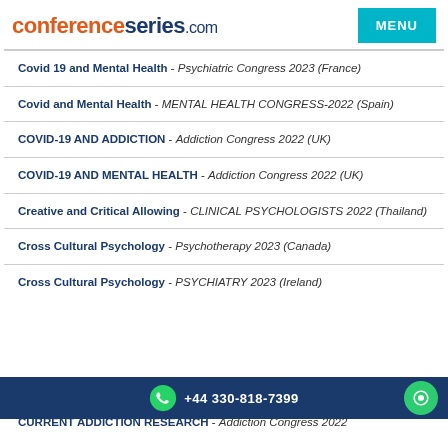conferenceseries.com | MENU
Covid 19 and Mental Health - Psychiatric Congress 2023 (France)
Covid and Mental Health - MENTAL HEALTH CONGRESS-2022 (Spain)
COVID-19 AND ADDICTION - Addiction Congress 2022 (UK)
COVID-19 AND MENTAL HEALTH - Addiction Congress 2022 (UK)
Creative and Critical Allowing - CLINICAL PSYCHOLOGISTS 2022 (Thailand)
Cross Cultural Psychology - Psychotherapy 2023 (Canada)
Cross Cultural Psychology - PSYCHIATRY 2023 (Ireland)
CURRENT ADDICTION RESEARCH - Addiction Congress 2022